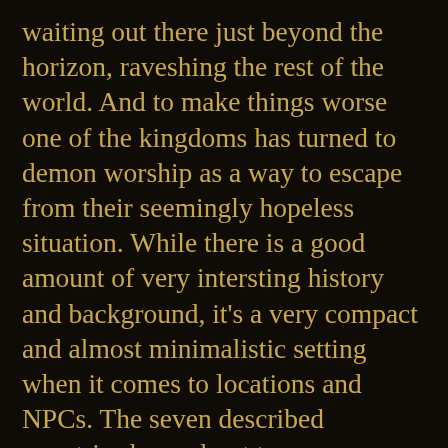waiting out there just beyond the horizon, raveshing the rest of the world. And to make things worse one of the kingdoms has turned to demon worship as a way to escape from their seemingly hopeless situation. While there is a good amount of very intersting history and background, it's a very compact and almost minimalistic setting when it comes to locations and NPCs. The seven described countries have about two pages each, with another four pages dealing with various other important cultural elements. It's done with good reason, as the methods of how to populate the world are what the second half is about. There are another 26 pages with information on standard and new character classes, spells, and equipment, and 10